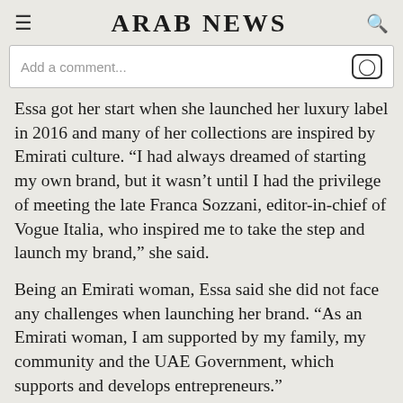ARAB NEWS
[Figure (screenshot): Comment input bar with Instagram icon on the right]
Essa got her start when she launched her luxury label in 2016 and many of her collections are inspired by Emirati culture. “I had always dreamed of starting my own brand, but it wasn’t until I had the privilege of meeting the late Franca Sozzani, editor-in-chief of Vogue Italia, who inspired me to take the step and launch my brand,” she said.
Being an Emirati woman, Essa said she did not face any challenges when launching her brand. “As an Emirati woman, I am supported by my family, my community and the UAE Government, which supports and develops entrepreneurs.”